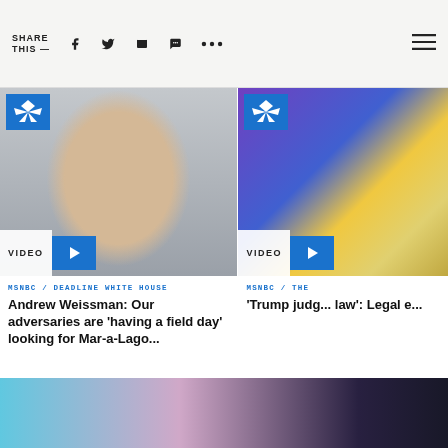SHARE THIS —
[Figure (photo): Video thumbnail: man with glasses in blazer, NBC/MSNBC Deadline White House segment]
MSNBC / DEADLINE WHITE HOUSE
Andrew Weissman: Our adversaries are 'having a field day' looking for Mar-a-Lago...
[Figure (photo): Video thumbnail: US Capitol building lit at night, NBC/MSNBC The Beat segment]
MSNBC / THE
'Trump judg... law': Legal e...
[Figure (photo): Bottom strip: partial image showing hands and glasses against blue/purple background]